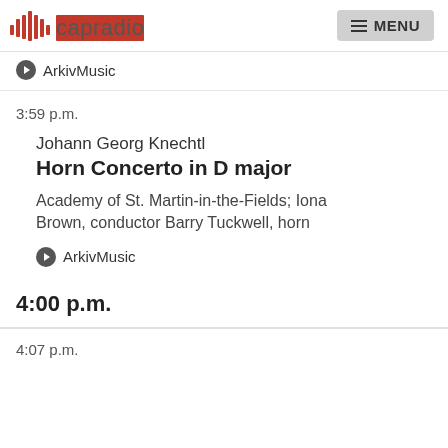capradio | MENU
ArkivMusic
3:59 p.m.
Johann Georg Knechtl
Horn Concerto in D major
Academy of St. Martin-in-the-Fields; Iona Brown, conductor Barry Tuckwell, horn
ArkivMusic
4:00 p.m.
4:07 p.m.